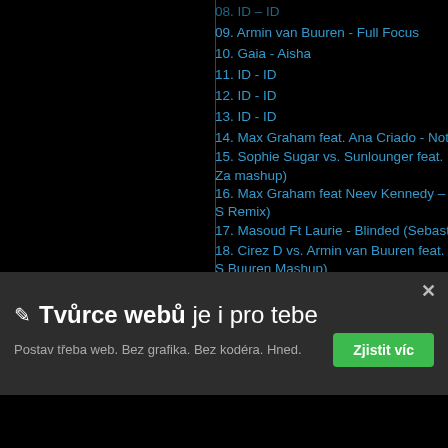09. Armin van Buuren - Full Focus
10. Gaia - Aisha
11. ID - ID
12. ID - ID
13. ID - ID
14. Max Graham feat. Ana Criado - Noth...
15. Sophie Sugar vs. Sunlounger feat. Za... mashup)
16. Max Graham feat Neev Kennedy – S... Remix)
17. Masoud Ft Laurie - Blinded (Sebastia...
18. Cirez D vs. Armin van Buuren feat. S... Buuren Mashup)
19. ID - ID
20. Faithless – Tweak Your Nipple (Tiest...
21. Dustin Zahn - Stranger to Stability (L...
22. W&W - Mainstage
23. Binary Finary - 1998 (Alex M.O.R.P....
24. Armin Van Buuren Feat. Van Velzen –
✏ Tvůrce webů je i pro tebe
Postav třeba web. Bez grafika. Bez kodéra. Hned.
Zjistit víc